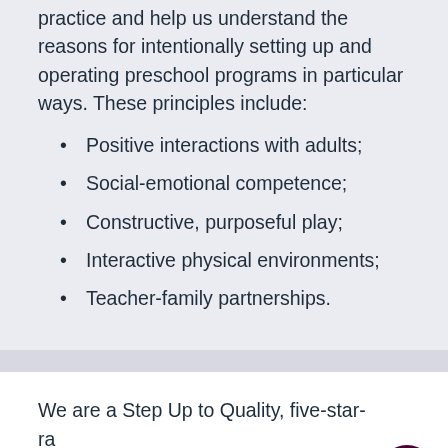practice and help us understand the reasons for intentionally setting up and operating preschool programs in particular ways. These principles include:
Positive interactions with adults;
Social-emotional competence;
Constructive, purposeful play;
Interactive physical environments;
Teacher-family partnerships.
We are a Step Up to Quality, five-star-ra… program (the highest rating) and accredited by